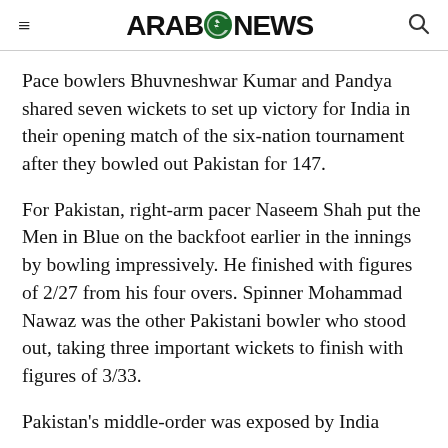ARAB NEWS
Pace bowlers Bhuvneshwar Kumar and Pandya shared seven wickets to set up victory for India in their opening match of the six-nation tournament after they bowled out Pakistan for 147.
For Pakistan, right-arm pacer Naseem Shah put the Men in Blue on the backfoot earlier in the innings by bowling impressively. He finished with figures of 2/27 from his four overs. Spinner Mohammad Nawaz was the other Pakistani bowler who stood out, taking three important wickets to finish with figures of 3/33.
Pakistan's middle-order was exposed by India